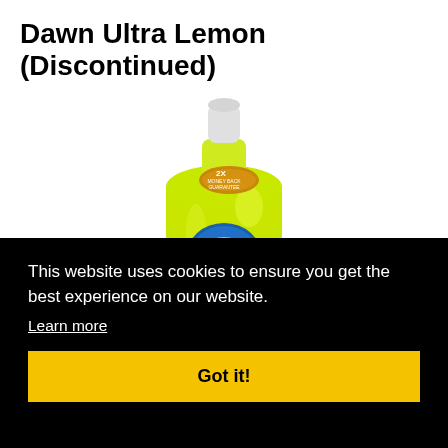Dawn Ultra Lemon (Discontinued)
[Figure (photo): Dawn Ultra Lemon dish soap bottle (yellow-green), showing the front label with the DAWN logo and a 2X Money Back Guarantee badge near the top.]
This website uses cookies to ensure you get the best experience on our website.
Learn more
Got it!